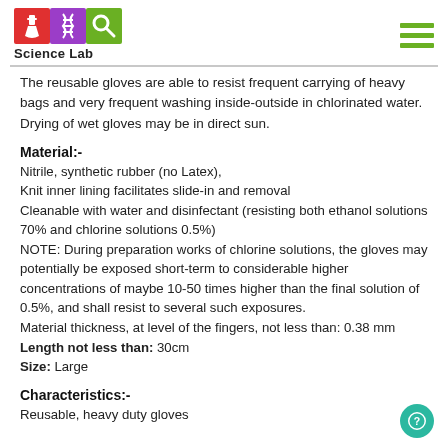Science Lab
The reusable gloves are able to resist frequent carrying of heavy bags and very frequent washing inside-outside in chlorinated water. Drying of wet gloves may be in direct sun.
Material:-
Nitrile, synthetic rubber (no Latex),
Knit inner lining facilitates slide-in and removal
Cleanable with water and disinfectant (resisting both ethanol solutions 70% and chlorine solutions 0.5%)
NOTE: During preparation works of chlorine solutions, the gloves may potentially be exposed short-term to considerable higher concentrations of maybe 10-50 times higher than the final solution of 0.5%, and shall resist to several such exposures.
Material thickness, at level of the fingers, not less than: 0.38 mm
Length not less than: 30cm
Size: Large
Characteristics:-
Reusable, heavy duty gloves